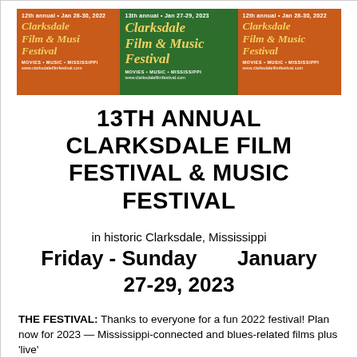[Figure (logo): Three overlapping festival banner panels showing Clarksdale Film & Music Festival logos. Left and right panels have orange/brown background, center panel has dark green background. All feature yellow italic serif text 'Clarksdale Film & Music Festival' with white text for annual number, dates, and website URL.]
13TH ANNUAL CLARKSDALE FILM FESTIVAL & MUSIC FESTIVAL
in historic Clarksdale, Mississippi
Friday - Sunday        January 27-29, 2023
THE FESTIVAL: Thanks to everyone for a fun 2022 festival! Plan now for 2023 — Mississippi-connected and blues-related films plus 'live'